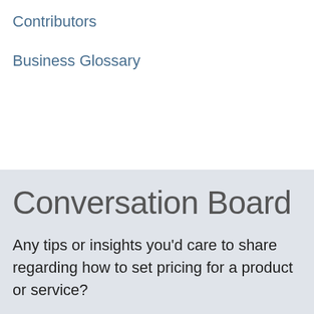Contributors
Business Glossary
Conversation Board
Any tips or insights you'd care to share regarding how to set pricing for a product or service?